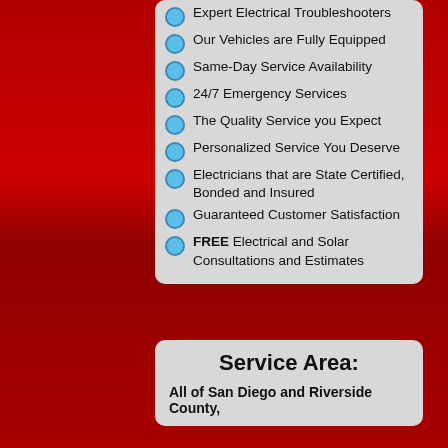Expert Electrical Troubleshooters
Our Vehicles are Fully Equipped
Same-Day Service Availability
24/7 Emergency Services
The Quality Service you Expect
Personalized Service You Deserve
Electricians that are State Certified, Bonded and Insured
Guaranteed Customer Satisfaction
FREE Electrical and Solar Consultations and Estimates
Service Area:
All of San Diego and Riverside County,